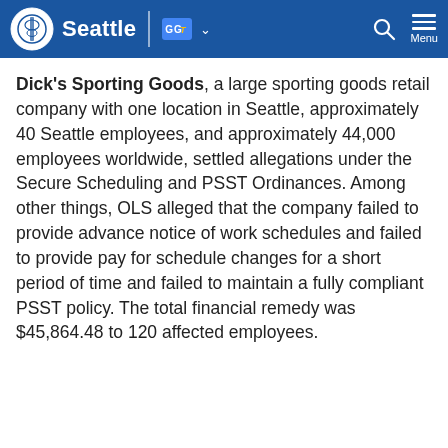Seattle
Dick's Sporting Goods, a large sporting goods retail company with one location in Seattle, approximately 40 Seattle employees, and approximately 44,000 employees worldwide, settled allegations under the Secure Scheduling and PSST Ordinances. Among other things, OLS alleged that the company failed to provide advance notice of work schedules and failed to provide pay for schedule changes for a short period of time and failed to maintain a fully compliant PSST policy. The total financial remedy was $45,864.48 to 120 affected employees.